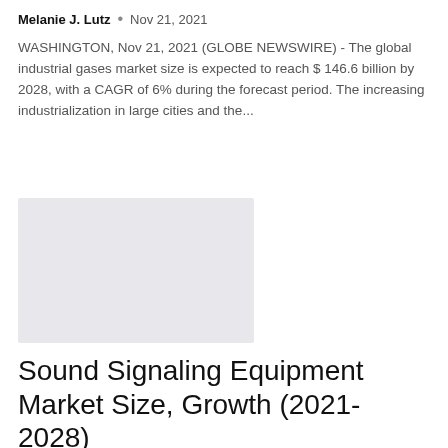Melanie J. Lutz · Nov 21, 2021
WASHINGTON, Nov 21, 2021 (GLOBE NEWSWIRE) - The global industrial gases market size is expected to reach $ 146.6 billion by 2028, with a CAGR of 6% during the forecast period. The increasing industrialization in large cities and the...
[Figure (photo): Placeholder image — light gray rectangle]
Sound Signaling Equipment Market Size, Growth (2021-2028)